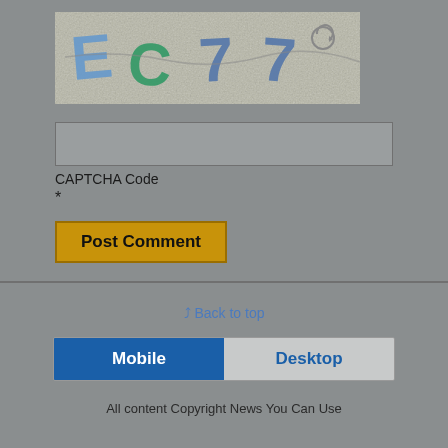[Figure (screenshot): CAPTCHA image showing distorted text 'EC77' with a refresh icon on a speckled background]
CAPTCHA Code
*
Post Comment
⇈ Back to top
Mobile
Desktop
All content Copyright News You Can Use